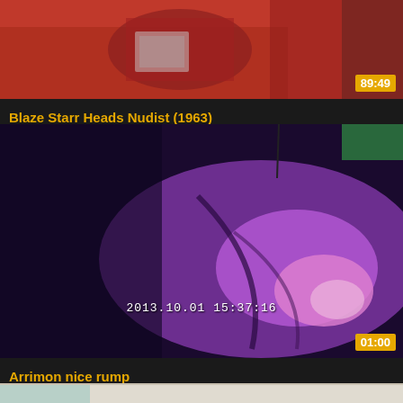[Figure (screenshot): Video thumbnail showing a person in red clothing on a red couch, reading a magazine. Duration badge shows 89:49.]
Blaze Starr Heads Nudist (1963)
[Figure (screenshot): Video thumbnail showing a purple/violet close-up scene with timestamp 2013.10.01 15:37:16. Duration badge shows 01:00.]
Arrimon nice rump
[Figure (screenshot): Video thumbnail showing a group of people in what appears to be a bathroom or shower setting.]